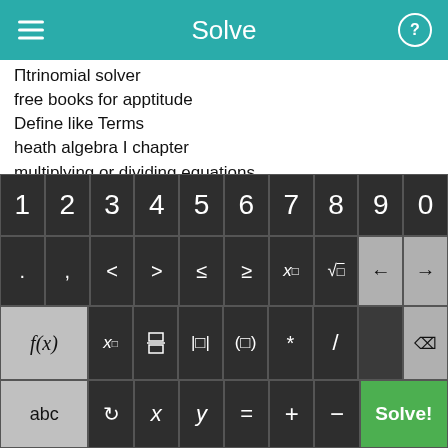Solve
Πtrinomial solver
free books for apptitude
Define like Terms
heath algebra I chapter
multiplying or dividing equations
Simplifying Fractions With Negative Exponents
Pre Calc- Holt
accounting tutorial free down load books
pre-algebra.com
mathematics simplification tricks
matlab equation solver
[Figure (screenshot): Calculator keyboard with rows: digits 1-9,0; symbols . , < > ≤ ≥ x^□ √□ backspace arrows; f(x) x□ fraction absolute-value parentheses * / delete; abc rotate x y = + - Solve! buttons]